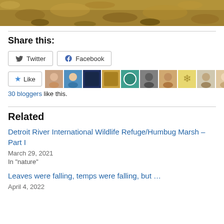[Figure (photo): Top portion of an autumn leaves pile photo, showing dry fallen leaves in brown and golden colors]
Share this:
Twitter  Facebook
Like  [30 blogger avatars]  30 bloggers like this.
Related
Detroit River International Wildlife Refuge/Humbug Marsh – Part I
March 29, 2021
In "nature"
Leaves were falling, temps were falling, but …
April 4, 2022